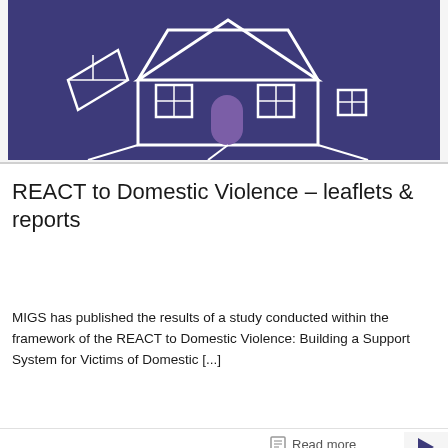[Figure (illustration): Dark navy/purple background with a white outline illustration of a house with windows and a door, stylized geometric shapes suggesting a broken or displaced home — logo/banner image for REACT to Domestic Violence project]
REACT to Domestic Violence – leaflets & reports
MIGS has published the results of a study conducted within the framework of the REACT to Domestic Violence: Building a Support System for Victims of Domestic [...]
Read more
[Figure (illustration): Purple/violet background book cover image with Greek text: Φτώχεια και Κοινωνικός Αποκλεισμός των Γυναικών Θυμάτων Βίας στην Οικογένεια — poverty and social exclusion of women victims of family violence]